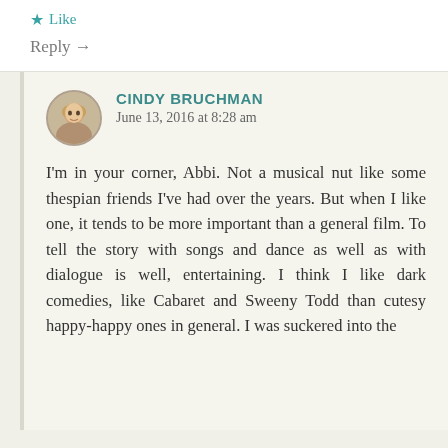★ Like
Reply →
CINDY BRUCHMAN
June 13, 2016 at 8:28 am
[Figure (photo): Circular avatar photo of a woman with blonde hair]
I'm in your corner, Abbi. Not a musical nut like some thespian friends I've had over the years. But when I like one, it tends to be more important than a general film. To tell the story with songs and dance as well as with dialogue is well, entertaining. I think I like dark comedies, like Cabaret and Sweeny Todd than cutesy happy-happy ones in general. I was suckered into the